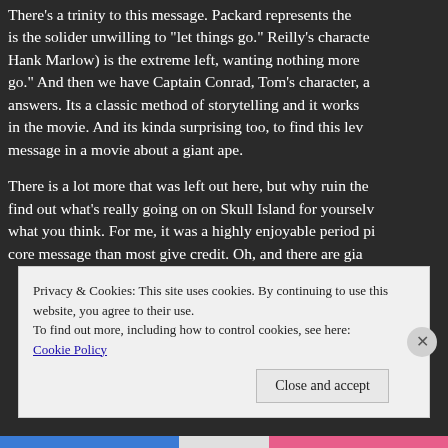There's a trinity to this message. Packard represents the is the solider unwilling to "let things go." Reilly's characte Hank Marlow) is the extreme left, wanting nothing more go." And then we have Captain Conrad, Tom's character, a answers. Its a classic method of storytelling and it works in the movie. And its kinda surprising too, to find this lev message in a movie about a giant ape.
There is a lot more that was left out here, but why ruin the find out what's really going on on Skull Island for yourselv what you think. For me, it was a highly enjoyable period pi core message than most give credit. Oh, and there are gia
Privacy & Cookies: This site uses cookies. By continuing to use this website, you agree to their use.
To find out more, including how to control cookies, see here: Cookie Policy
Close and accept